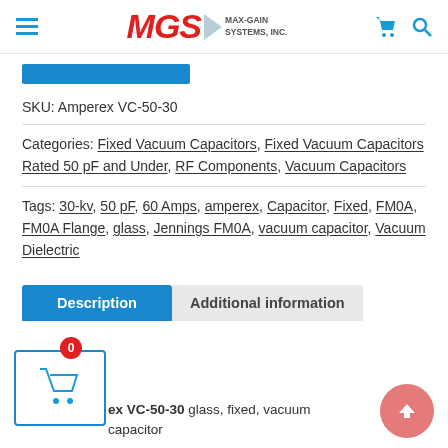MGS MAX-GAIN SYSTEMS, INC.
SKU: Amperex VC-50-30
Categories: Fixed Vacuum Capacitors, Fixed Vacuum Capacitors Rated 50 pF and Under, RF Components, Vacuum Capacitors
Tags: 30-kv, 50 pF, 60 Amps, amperex, Capacitor, Fixed, FM0A, FM0A Flange, glass, Jennings FM0A, vacuum capacitor, Vacuum Dielectric
Description | Additional information
Amperex VC-50-30 glass, fixed, vacuum capacitor